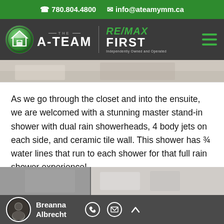📞 780.804.4800  ✉ info@ateamymm.ca
[Figure (logo): The A-Team RE/MAX First real estate agency logo with green navigation bar]
[Figure (photo): Partial view of interior room, cropped photo strip]
As we go through the closet and into the ensuite, we are welcomed with a stunning master stand-in shower with dual rain showerheads, 4 body jets on each side, and ceramic tile wall. This shower has ¾ water lines that run to each shower for that full rain shower experience!
[Figure (photo): Bottom partial view of ensuite bathroom]
Breanna Albrecht